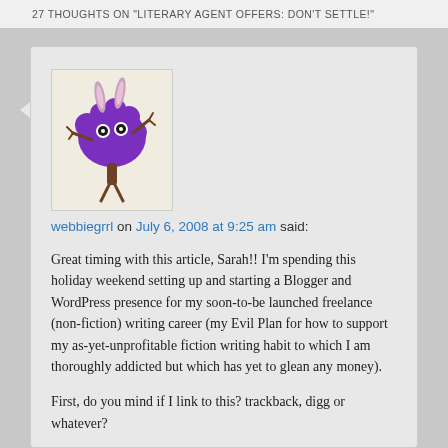27 THOUGHTS ON "LITERARY AGENT OFFERS: DON'T SETTLE!"
[Figure (illustration): Purple cartoon monster character with rabbit ears, googly eyes, and stick arms and legs, standing on a beige background]
webbiegrrl on July 6, 2008 at 9:25 am said:
Great timing with this article, Sarah!! I'm spending this holiday weekend setting up and starting a Blogger and WordPress presence for my soon-to-be launched freelance (non-fiction) writing career (my Evil Plan for how to support my as-yet-unprofitable fiction writing habit to which I am thoroughly addicted but which has yet to glean any money).
First, do you mind if I link to this? trackback, digg or whatever?
Second, would you like to be an Invited Reader at the webbiegrrl blogger? I didn't automatically add